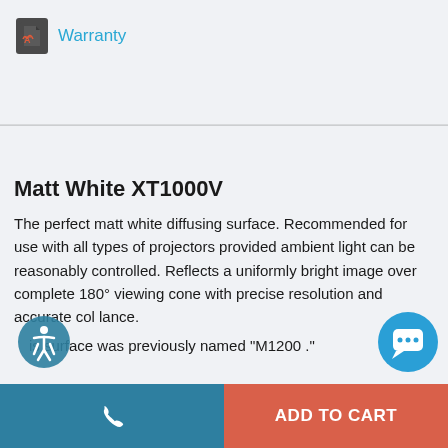[Figure (other): PDF file icon (dark gray square with Adobe Acrobat-style logo)]
Warranty
Matt White XT1000V
The perfect matt white diffusing surface. Recommended for use with all types of projectors provided ambient light can be reasonably controlled. Reflects a uniformly bright image over complete 180° viewing cone with precise resolution and accurate col balance.
is surface was previously named "M1200 "
[Figure (other): Blue circular accessibility icon with wheelchair user symbol]
[Figure (other): Blue circular chat/message bubble icon]
[Figure (other): Dark teal phone call button with phone handset icon]
ADD TO CART